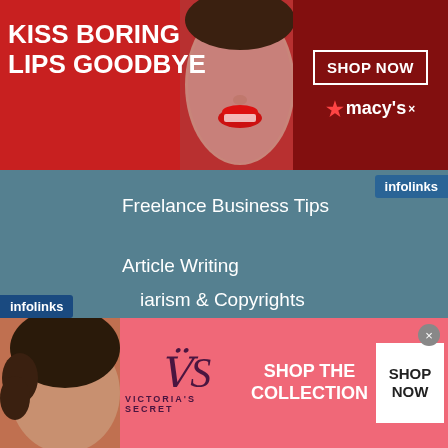[Figure (screenshot): Top advertisement banner for Macy's with red background, text 'KISS BORING LIPS GOODBYE', woman's face with red lips in center, 'SHOP NOW' button and Macy's logo on right, 'infolinks' badge]
Freelance Business Tips
Article Writing
Writing Tips
Writing Resources
Affiliates & Referral Disclaimer
21st Century Publishing
Plagiarism & Copyrights
[Figure (screenshot): Bottom advertisement banner for Victoria's Secret with pink background, woman's face on left, VS logo and text 'SHOP THE COLLECTION', white 'SHOP NOW' box on right]